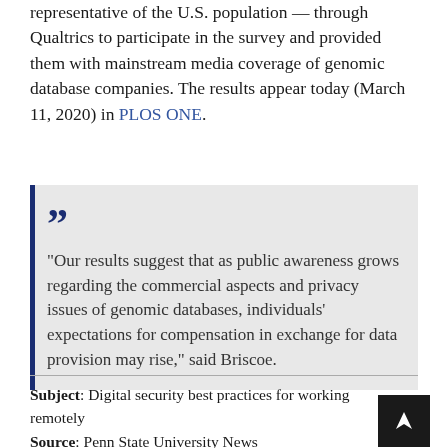representative of the U.S. population — through Qualtrics to participate in the survey and provided them with mainstream media coverage of genomic database companies. The results appear today (March 11, 2020) in PLOS ONE.
“Our results suggest that as public awareness grows regarding the commercial aspects and privacy issues of genomic databases, individuals’ expectations for compensation in exchange for data provision may rise,” said Briscoe.
Subject: Digital security best practices for working remotely
Source: Penn State University News
https://news.psu.edu/story/